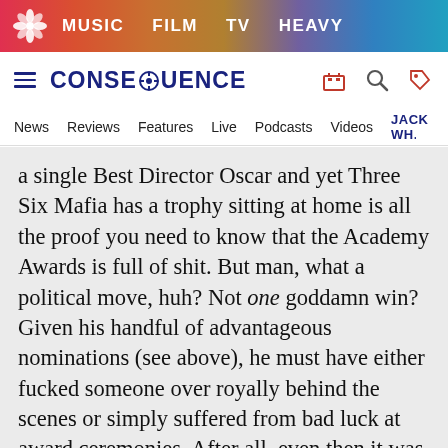MUSIC  FILM  TV  HEAVY
CONSEQUENCE — Navigation: News, Reviews, Features, Live, Podcasts, Videos, JACK WH...
a single Best Director Oscar and yet Three Six Mafia has a trophy sitting at home is all the proof you need to know that the Academy Awards is full of shit. But man, what a political move, huh? Not one goddamn win? Given his handful of advantageous nominations (see above), he must have either fucked someone over royally behind the scenes or simply suffered from bad luck at award ceremonies. After all, even then it was hard to dispute that he wasn't the most iconic visionary to grace Hollywood, turning his productions into sweeping events that seemingly froze the